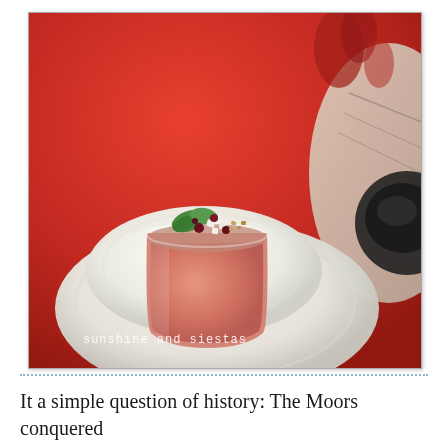[Figure (photo): A glass of chilled gazpacho soup served on a white saucer/plate, garnished with chopped toppings including mint leaves, diced vegetables, and crumbled nuts. The background is a red tablecloth with floral motifs, and there is a dark bowl visible on the right side. A watermark reads 'sunshine and siestas' in the lower right corner of the photo.]
It a simple question of history: The Moors conquered